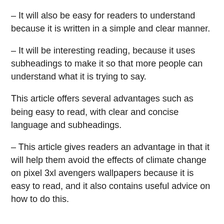– It will also be easy for readers to understand because it is written in a simple and clear manner.
– It will be interesting reading, because it uses subheadings to make it so that more people can understand what it is trying to say.
This article offers several advantages such as being easy to read, with clear and concise language and subheadings.
– This article gives readers an advantage in that it will help them avoid the effects of climate change on pixel 3xl avengers wallpapers because it is easy to read, and it also contains useful advice on how to do this.